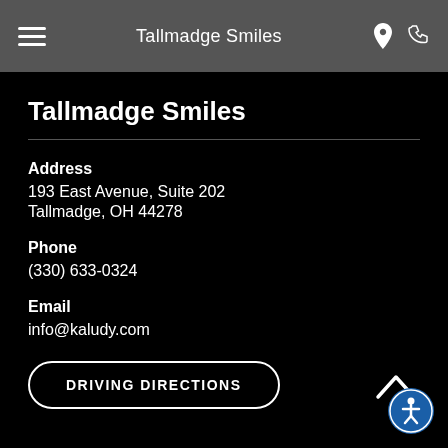Tallmadge Smiles
Tallmadge Smiles
Address
193 East Avenue, Suite 202
Tallmadge, OH 44278
Phone
(330) 633-0324
Email
info@kaludy.com
DRIVING DIRECTIONS